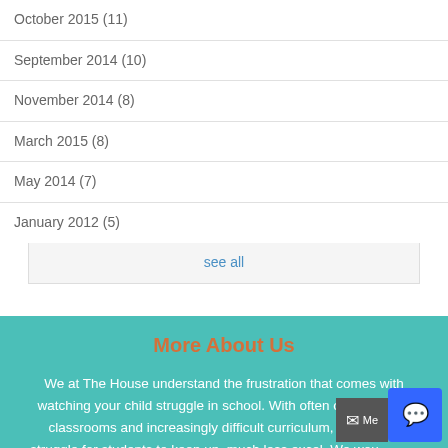October 2015 (11)
September 2014 (10)
November 2014 (8)
March 2015 (8)
May 2014 (7)
January 2012 (5)
see all
More About Us
We at The House understand the frustration that comes with watching your child struggle in school. With often overcrowded classrooms and increasingly difficult curriculum, it can be a struggle for students to keep up, much less excel. We would love to help!